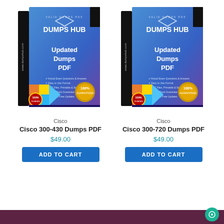[Figure (illustration): Dumps HUB product box with 'Updated Dumps PDF' text and 100% Guaranteed badge - for Cisco 300-430]
Cisco
Cisco 300-430 Dumps PDF
$49.00
[Figure (illustration): Dumps HUB product box with 'Updated Dumps PDF' text and 100% Guaranteed badge - for Cisco 300-720]
Cisco
Cisco 300-720 Dumps PDF
$49.00